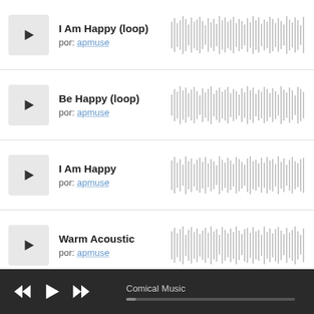[Figure (screenshot): Music track listing UI: I Am Happy (loop) by apmuse with waveform]
[Figure (screenshot): Music track listing UI: Be Happy (loop) by apmuse with waveform]
[Figure (screenshot): Music track listing UI: I Am Happy by apmuse with waveform]
[Figure (screenshot): Music track listing UI: Warm Acoustic by apmuse with waveform]
Comical Music (now playing, bottom bar)